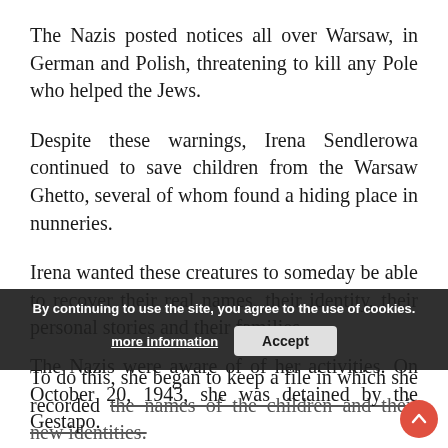The Nazis posted notices all over Warsaw, in German and Polish, threatening to kill any Pole who helped the Jews.
Despite these warnings, Irena Sendlerowa continued to save children from the Warsaw Ghetto, several of whom found a hiding place in nunneries.
Irena wanted these creatures to someday be able to recover their real names, their identity, their personal stories and their families.
To do this, she began to keep a file in which she recorded the names of the children and their new identities.
The Nazis were aware of her activities. On October 20, 1943, she was detained by the Gestapo.